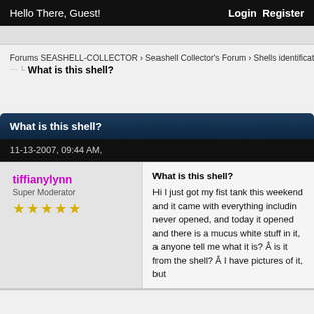Hello There, Guest! Login Register
Forums SEASHELL-COLLECTOR › Seashell Collector's Forum › Shells identification
What is this shell?
What is this shell?
11-13-2007, 09:44 AM,
tiffianylynn
Super Moderator
★★★★★
What is this shell?

Hi I just got my fist tank this weekend and it came with everything including never opened, and today it opened and there is a mucus white stuff in it, a anyone tell me what it is? Â is it from the shell? Â I have pictures of it, but